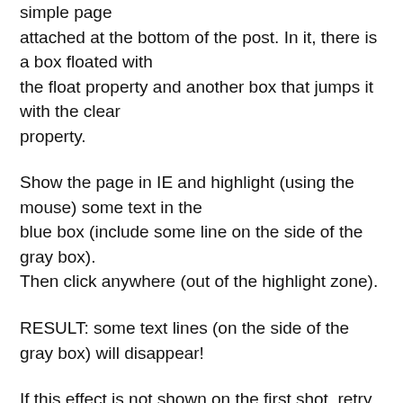simple page attached at the bottom of the post. In it, there is a box floated with the float property and another box that jumps it with the clear property.
Show the page in IE and highlight (using the mouse) some text in the blue box (include some line on the side of the gray box). Then click anywhere (out of the highlight zone).
RESULT: some text lines (on the side of the gray box) will disappear!
If this effect is not shown on the first shot, retry for two or three times. If you want the vanished text to appear don't